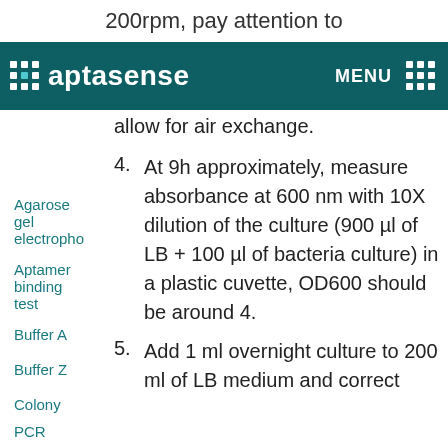200rpm, pay attention to
aptasense MENU
allow for air exchange.
Agarose gel electropho
Aptamer binding test
Buffer A
Buffer Z
Colony
PCR
4. At 9h approximately, measure absorbance at 600 nm with 10X dilution of the culture (900 µl of LB + 100 µl of bacteria culture) in a plastic cuvette, OD600 should be around 4.
5. Add 1 ml overnight culture to 200 ml of LB medium and correct